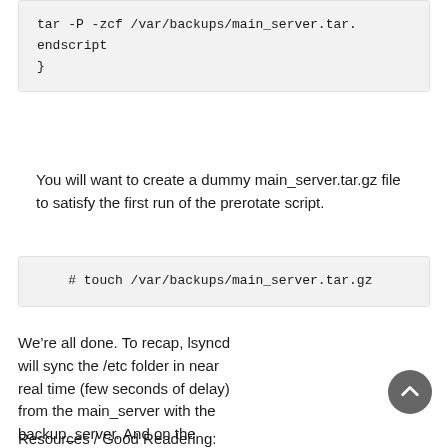tar -P -zcf /var/backups/main_server.tar.
endscript
}
You will want to create a dummy main_server.tar.gz file to satisfy the first run of the prerotate script.
# touch /var/backups/main_server.tar.gz
We’re all done. To recap, lsyncd will sync the /etc folder in near real time (few seconds of delay) from the main_server with the backup_server. And on the backup_server, a copy of the sync’d folder is backed up daily with logrotate, maintaining 2 rotated copies.
Resources / Good Readering: